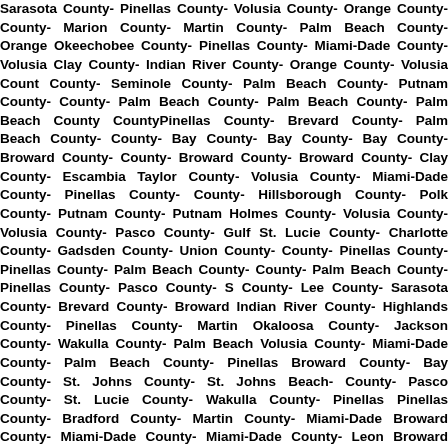Sarasota County- Pinellas County- Volusia County- Orange County- County- Marion County- Martin County- Palm Beach County- Orange Okeechobee County- Pinellas County- Miami-Dade County- Volusia Clay County- Indian River County- Orange County- Volusia Count County- Seminole County- Palm Beach County- Putnam County- County- Palm Beach County- Palm Beach County- Palm Beach County CountyPinellas County- Brevard County- Palm Beach County- County- Bay County- Bay County- Bay County- Broward County- County- Broward County- Broward County- Clay County- Escambia Taylor County- Volusia County- Miami-Dade County- Pinellas County- County- Hillsborough County- Polk County- Putnam County- Putnam Holmes County- Volusia County- Volusia County- Pasco County- Gulf St. Lucie County- Charlotte County- Gadsden County- Union County- County- Pinellas County- Pinellas County- Palm Beach County- County- Palm Beach County- Pinellas County- Pasco County- S County- Lee County- Sarasota County- Brevard County- Broward Indian River County- Highlands County- Pinellas County- Martin Okaloosa County- Jackson County- Wakulla County- Palm Beach Volusia County- Miami-Dade County- Palm Beach County- Pinellas Broward County- Bay County- St. Johns County- St. Johns Beach- County- Pasco County- St. Lucie County- Wakulla County- Pinellas Pinellas County- Bradford County- Martin County- Miami-Dade Broward County- Miami-Dade County- Miami-Dade County- Leon Broward County- Hillsborough County- Pinellas County- Lake Hillsborough County- Palm Beach County- Brevard County- Pinellas Gilchrist County- Lake County- Okaloosa County- Sarasota Washington County- Indian River County- Miami-Dade County-